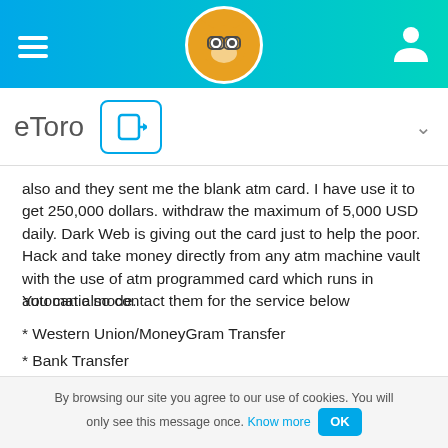eToro navigation bar with logo
also and they sent me the blank atm card. I have use it to get 250,000 dollars. withdraw the maximum of 5,000 USD daily. Dark Web is giving out the card just to help the poor. Hack and take money directly from any atm machine vault with the use of atm programmed card which runs in automatic mode.
You can also contact them for the service below
* Western Union/MoneyGram Transfer
* Bank Transfer
* PayPal / Skrill Transfer
* Crypto Mining
By browsing our site you agree to our use of cookies. You will only see this message once. Know more OK